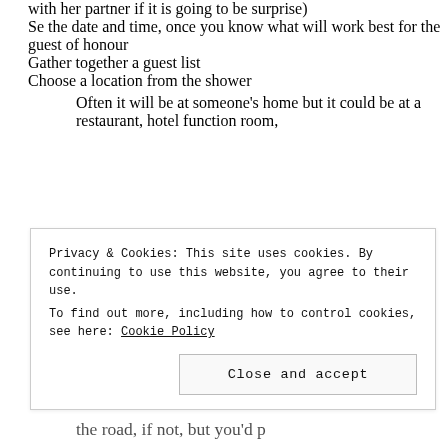with her partner if it is going to be surprise)
Se the date and time, once you know what will work best for the guest of honour
Gather together a guest list
Choose a location from the shower
Often it will be at someone's home but it could be at a restaurant, hotel function room,
Privacy & Cookies: This site uses cookies. By continuing to use this website, you agree to their use. To find out more, including how to control cookies, see here: Cookie Policy
Close and accept
the road, if not, but you'd p